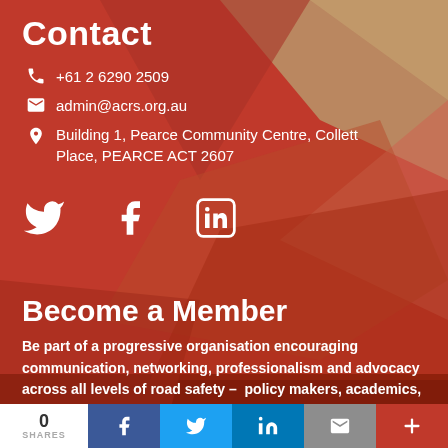Contact
+61 2 6290 2509
admin@acrs.org.au
Building 1, Pearce Community Centre, Collett Place, PEARCE ACT 2607
[Figure (illustration): Social media icons: Twitter, Facebook, LinkedIn]
Become a Member
Be part of a progressive organisation encouraging communication, networking, professionalism and advocacy across all levels of road safety – policy makers, academics, community organisations, researchers, federal, state and local government
0 SHARES | Facebook | Twitter | LinkedIn | Email | More